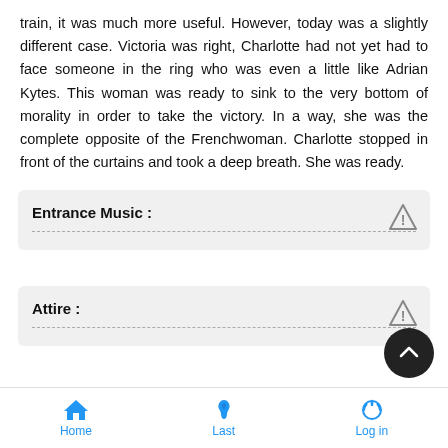train, it was much more useful. However, today was a slightly different case. Victoria was right, Charlotte had not yet had to face someone in the ring who was even a little like Adrian Kytes. This woman was ready to sink to the very bottom of morality in order to take the victory. In a way, she was the complete opposite of the Frenchwoman. Charlotte stopped in front of the curtains and took a deep breath. She was ready.
Entrance Music :
Attire :
Home   Last   Log in